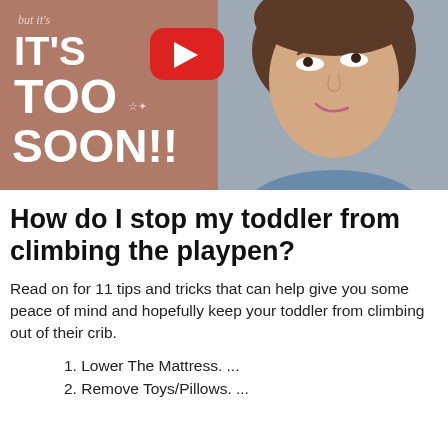[Figure (screenshot): YouTube thumbnail showing text 'IT'S TOO SOON!!' on a mauve/brown background on the left half, a YouTube play button in the center, and a woman with brown hair making a surprised/anxious expression on the right half.]
How do I stop my toddler from climbing the playpen?
Read on for 11 tips and tricks that can help give you some peace of mind and hopefully keep your toddler from climbing out of their crib.
1. Lower The Mattress. ...
2. Remove Toys/Pillows. ...